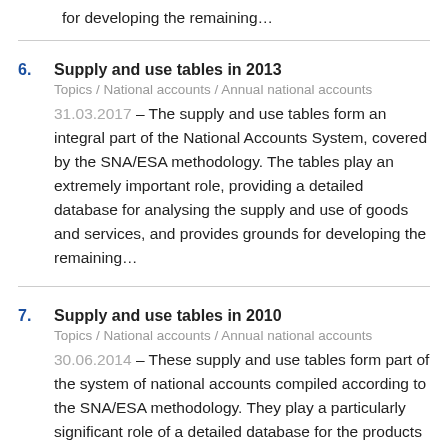for developing the remaining…
6. Supply and use tables in 2013
Topics / National accounts / Annual national accounts
31.03.2017 – The supply and use tables form an integral part of the National Accounts System, covered by the SNA/ESA methodology. The tables play an extremely important role, providing a detailed database for analysing the supply and use of goods and services, and provides grounds for developing the remaining…
7. Supply and use tables in 2010
Topics / National accounts / Annual national accounts
30.06.2014 – These supply and use tables form part of the system of national accounts compiled according to the SNA/ESA methodology. They play a particularly significant role of a detailed database for the products and services supply